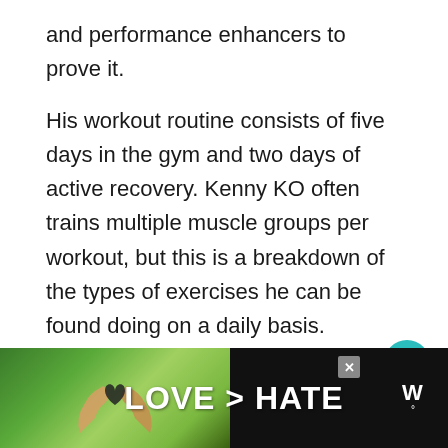and performance enhancers to prove it.
His workout routine consists of five days in the gym and two days of active recovery. Kenny KO often trains multiple muscle groups per workout, but this is a breakdown of the types of exercises he can be found doing on a daily basis.
Here is the Kenny KO workout routine:
[Figure (infographic): Advertisement banner at bottom: dark background with hands forming a heart shape on green outdoor background, bold white text 'LOVE > HATE', close button (X), and a logo with stylized 'W' and degree symbol.]